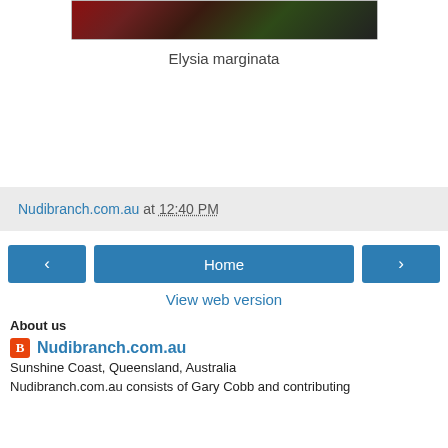[Figure (photo): Partial photo of Elysia marginata, a sea slug, showing reddish-brown colors with green and dark areas]
Elysia marginata
Nudibranch.com.au at 12:40 PM
[Figure (screenshot): Navigation buttons: left arrow, Home, right arrow]
View web version
About us
Nudibranch.com.au
Sunshine Coast, Queensland, Australia
Nudibranch.com.au consists of Gary Cobb and contributing